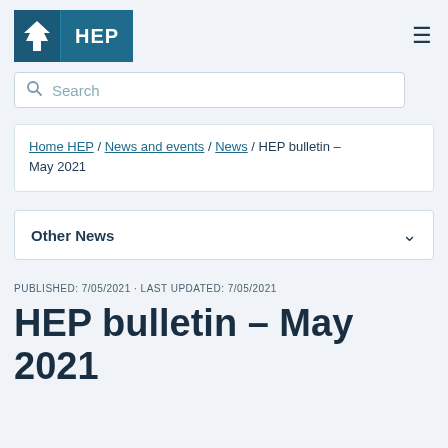HEP
Search
Home HEP / News and events / News / HEP bulletin – May 2021
Other News
PUBLISHED: 7/05/2021 · LAST UPDATED: 7/05/2021
HEP bulletin – May 2021